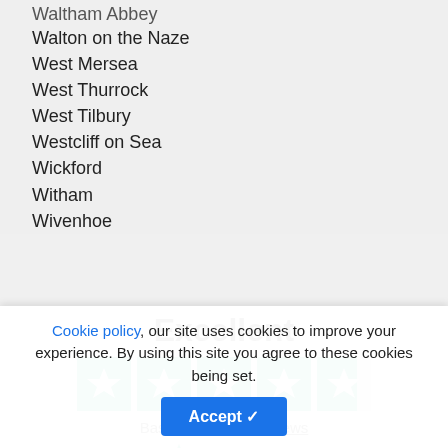Waltham Abbey
Walton on the Naze
West Mersea
West Thurrock
West Tilbury
Westcliff on Sea
Wickford
Witham
Wivenhoe
[Figure (other): Trustpilot rating widget showing 'Excellent' with 4.5 stars and 'Based on 61,535 reviews']
Cookie policy, our site uses cookies to improve your experience. By using this site you agree to these cookies being set.
Accept ✓